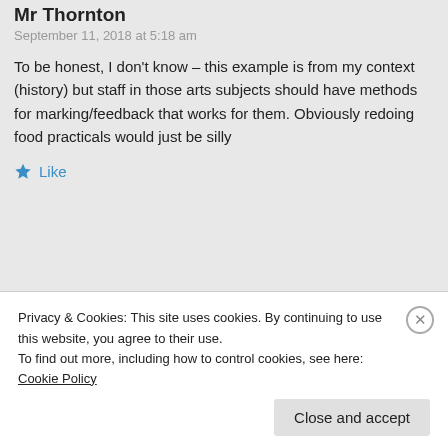Mr Thornton
September 11, 2018 at 5:18 am
To be honest, I don’t know – this example is from my context (history) but staff in those arts subjects should have methods for marking/feedback that works for them. Obviously redoing food practicals would just be silly
★ Like
Roisin Stark
January 1, 2019 at 6:10 pm
Privacy & Cookies: This site uses cookies. By continuing to use this website, you agree to their use.
To find out more, including how to control cookies, see here: Cookie Policy
Close and accept